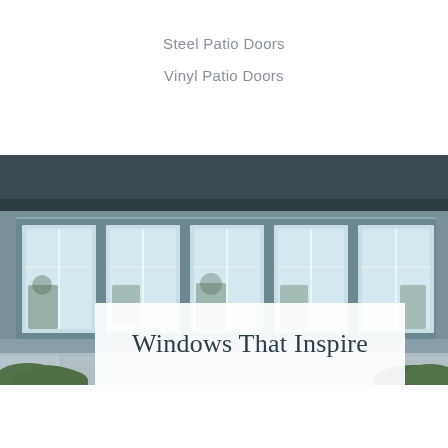Steel Patio Doors
Vinyl Patio Doors
[Figure (photo): Exterior view of a modern home facade featuring five large framed picture windows set in gray/slate colored frames, reflecting the sky and surrounding trees. A dark soffit/overhang is visible at the top, and stone/brick detailing at the bottom. Lush green hedges are visible in the lower corners.]
Windows That Inspire